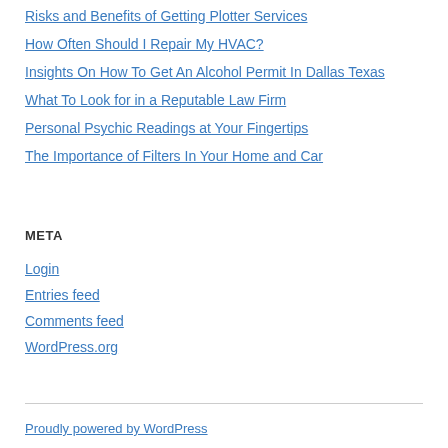Risks and Benefits of Getting Plotter Services
How Often Should I Repair My HVAC?
Insights On How To Get An Alcohol Permit In Dallas Texas
What To Look for in a Reputable Law Firm
Personal Psychic Readings at Your Fingertips
The Importance of Filters In Your Home and Car
META
Login
Entries feed
Comments feed
WordPress.org
Proudly powered by WordPress